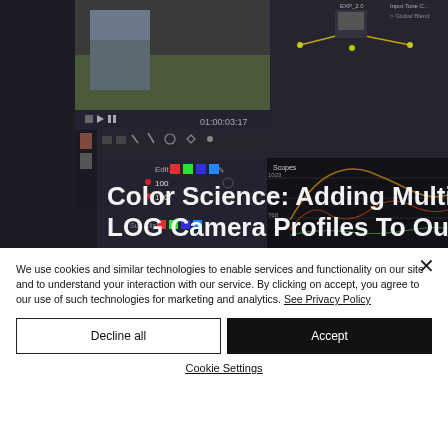[Figure (screenshot): DaVinci Resolve color grading software interface showing a video clip of a person in a field, node graph, scopes panel, and color wheels. Text overlay reads 'Color Science: Adding Multiple LOG Camera Profiles To Our']
We use cookies and similar technologies to enable services and functionality on our site and to understand your interaction with our service. By clicking on accept, you agree to our use of such technologies for marketing and analytics. See Privacy Policy
Decline all
Accept
Cookie Settings